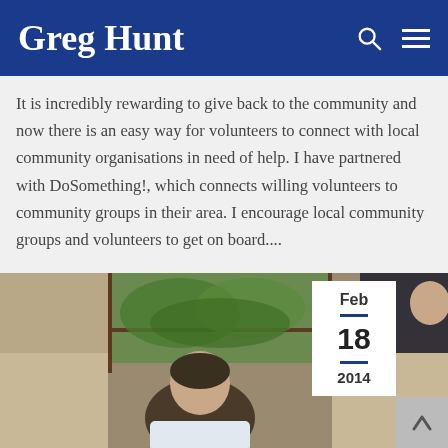Greg Hunt
It is incredibly rewarding to give back to the community and now there is an easy way for volunteers to connect with local community organisations in need of help. I have partnered with DoSomething!, which connects willing volunteers to community groups in their area. I encourage local community groups and volunteers to get on board....
[Figure (photo): Photo of a man looking down, seated indoors near a window with trees visible outside, in what appears to be a meeting or office setting. A white date badge overlay shows Feb 18 2014.]